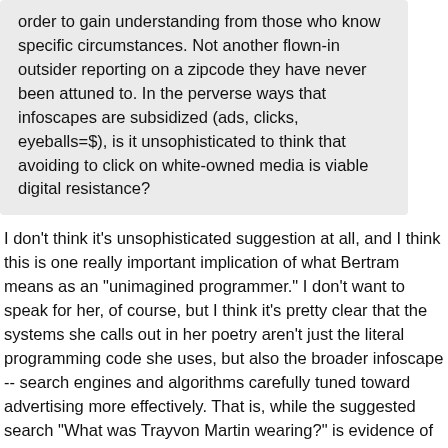order to gain understanding from those who know specific circumstances. Not another flown-in outsider reporting on a zipcode they have never been attuned to. In the perverse ways that infoscapes are subsidized (ads, clicks, eyeballs=$), is it unsophisticated to think that avoiding to click on white-owned media is viable digital resistance?
I don't think it's unsophisticated suggestion at all, and I think this is one really important implication of what Bertram means as an "unimagined programmer." I don't want to speak for her, of course, but I think it's pretty clear that the systems she calls out in her poetry aren't just the literal programming code she uses, but also the broader infoscape -- search engines and algorithms carefully tuned toward advertising more effectively. That is, while the suggested search "What was Trayvon Martin wearing?" is evidence of biased and racially-specific victim blaming, it is also Google trying to help advertisers reach me with their messages. Google is offering that up because people have searched for it, so if I click on that suggestion, Google knows I'm more like the other people who typed that in or clicked on it and, therefore, more likely to respond to the same kind of advertising messages. And this likelihood is what Google can sell.